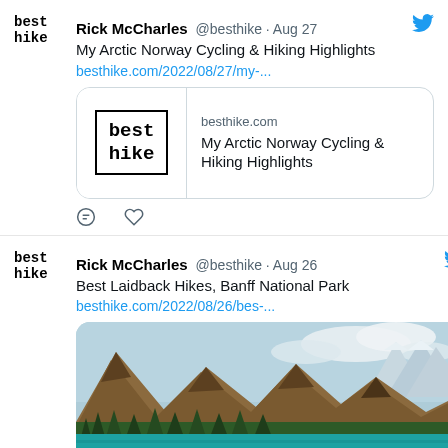Rick McCharles @besthike · Aug 27
My Arctic Norway Cycling & Hiking Highlights
besthike.com/2022/08/27/my-...
[Figure (screenshot): Link preview card showing best hike logo and article title: My Arctic Norway Cycling & Hiking Highlights on besthike.com]
Rick McCharles @besthike · Aug 26
Best Laidback Hikes, Banff National Park
besthike.com/2022/08/26/bes-...
[Figure (photo): Mountain lake scene at Moraine Lake, Banff National Park with turquoise water, rocky mountains, evergreen trees, and cloudy sky]